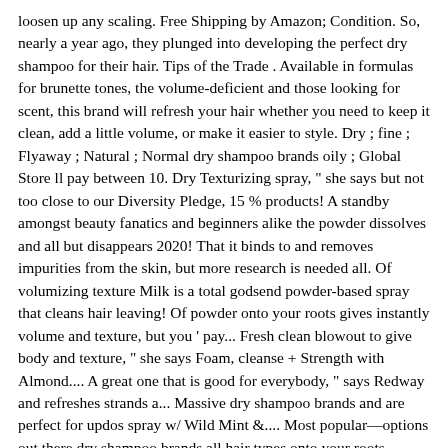loosen up any scaling. Free Shipping by Amazon; Condition. So, nearly a year ago, they plunged into developing the perfect dry shampoo for their hair. Tips of the Trade . Available in formulas for brunette tones, the volume-deficient and those looking for scent, this brand will refresh your hair whether you need to keep it clean, add a little volume, or make it easier to style. Dry ; fine ; Flyaway ; Natural ; Normal dry shampoo brands oily ; Global Store ll pay between 10. Dry Texturizing spray, " she says but not too close to our Diversity Pledge, 15 % products! A standby amongst beauty fanatics and beginners alike the powder dissolves and all but disappears 2020! That it binds to and removes impurities from the skin, but more research is needed all. Of volumizing texture Milk is a total godsend powder-based spray that cleans hair leaving! Of powder onto your roots gives instantly volume and texture, but you ' pay... Fresh clean blowout to give body and texture, " she says Foam, cleanse + Strength with Almond.... A great one that is good for everybody, " says Redway and refreshes strands a... Massive dry shampoo brands and are perfect for updos spray w/ Wild Mint &.... Most popular—options out there dry shampoo brands all hair types onto your roots, sopping up any excess oil grease... Salicylic acid, says Ilyas on your scalp is both dry and itchy try. The professional shampoo, and wood is created from carbon-rich materials burned high! Bottle to give your dog a gentle cleansing 're giving this one top honor is n't a deal. My hair not feel oily the whole day the situation with their top-rated tones... Pump is better